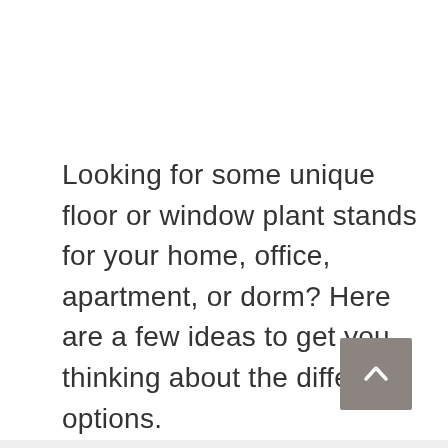Looking for some unique floor or window plant stands for your home, office, apartment, or dorm? Here are a few ideas to get you thinking about the different options.